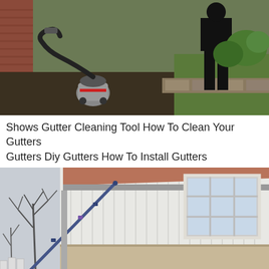[Figure (photo): Outdoor photo showing a wet/dry vacuum cleaner with a hose on dirt/mulch near a brick wall, with a person in dark clothing and a garden border with green grass in the background.]
Shows Gutter Cleaning Tool How To Clean Your Gutters Gutters Diy Gutters How To Install Gutters
[Figure (photo): Photo of the exterior of a house with white vertical siding and a terracotta/copper colored roof edge (gutter area), with a long telescoping pole/tool extended up toward the roofline. Bare winter trees visible on the left, and a multi-pane window on the right side of the house.]